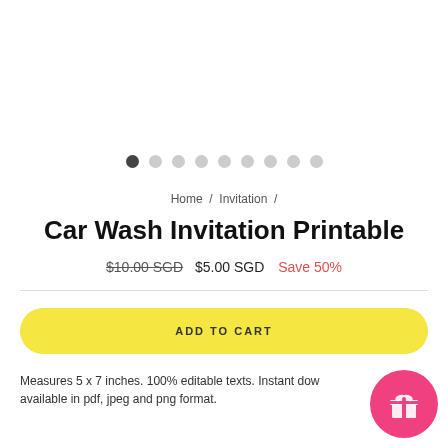[Figure (other): Carousel dot indicators: 9 dots, first one active (dark), rest inactive (light gray)]
Home / Invitation /
Car Wash Invitation Printable
$10.00 SGD  $5.00 SGD  Save 50%
ADD TO CART
Measures 5 x 7 inches. 100% editable texts. Instant dow... available in pdf, jpeg and png format.